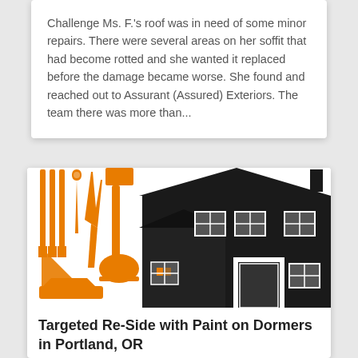Challenge Ms. F.'s roof was in need of some minor repairs. There were several areas on her soffit that had become rotted and she wanted it replaced before the damage became worse. She found and reached out to Assurant (Assured) Exteriors. The team there was more than...
[Figure (logo): Assured Exteriors company logo showing a house silhouette in black with the company name and shield logo, alongside orange tools/construction equipment icons on the left side.]
Targeted Re-Side with Paint on Dormers in Portland, OR